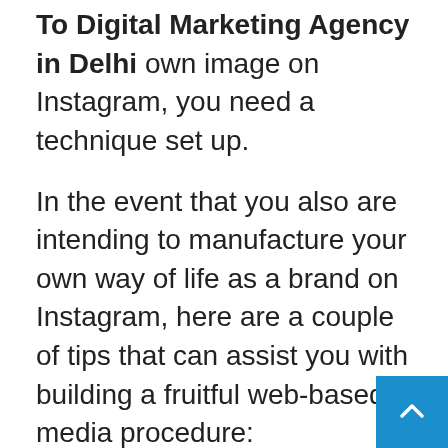To Digital Marketing Agency in Delhi own image on Instagram, you need a technique set up.
In the event that you also are intending to manufacture your own way of life as a brand on Instagram, here are a couple of tips that can assist you with building a fruitful web-based media procedure:
Recognize a specialty: It is critical to characterize your focused on field or territory that you will be sharing substance about. It could be in the field of way of blogging, food blogging, sharing book audits,